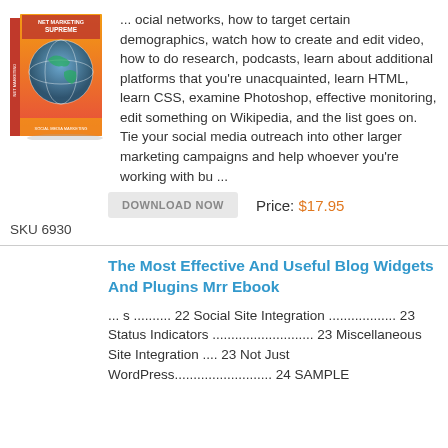[Figure (illustration): Book cover for 'Net Marketing Supreme' showing a globe on an orange background]
... ocial networks, how to target certain demographics, watch how to create and edit video, how to do research, podcasts, learn about additional platforms that you're unacquainted, learn HTML, learn CSS, examine Photoshop, effective monitoring, edit something on Wikipedia, and the list goes on. Tie your social media outreach into other larger marketing campaigns and help whoever you're working with bu ...
DOWNLOAD NOW   Price: $17.95
SKU 6930
The Most Effective And Useful Blog Widgets And Plugins Mrr Ebook
... s .......... 22 Social Site Integration .................. 23 Status Indicators ........................... 23 Miscellaneous Site Integration .... 23 Not Just WordPress.......................... 24 SAMPLE